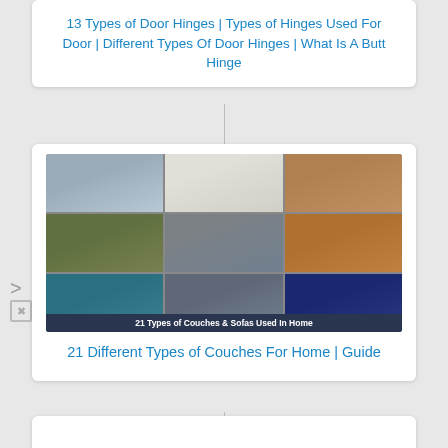13 Types of Door Hinges | Types of Hinges Used For Door | Different Types Of Door Hinges | What Is A Butt Hinge
[Figure (photo): Composite grid of 9 sofa/couch photos in 3x3 layout with overlay bar text '21 Types of Couches & Sofas Used In Home']
21 Different Types of Couches For Home | Guide